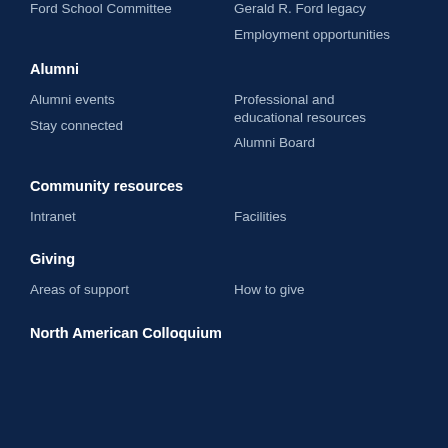Ford School Committee
Gerald R. Ford legacy
Employment opportunities
Alumni
Alumni events
Stay connected
Professional and educational resources
Alumni Board
Community resources
Intranet
Facilities
Giving
Areas of support
How to give
North American Colloquium